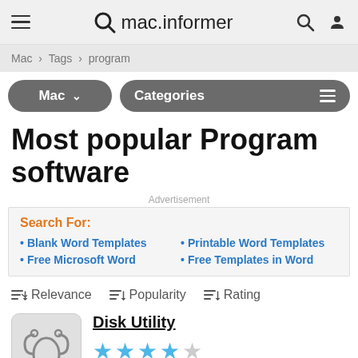mac.informer
Mac › Tags › program
Mac ∨  Categories ≡
Most popular Program software
Advertisement
Search For: • Blank Word Templates • Free Microsoft Word • Printable Word Templates • Free Templates in Word
≡↓ Relevance  ≡↓ Popularity  ≡↓ Rating
Disk Utility